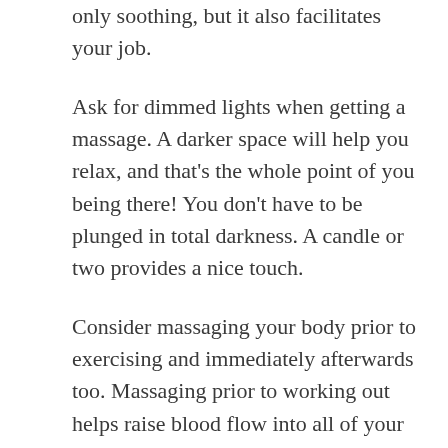only soothing, but it also facilitates your job.
Ask for dimmed lights when getting a massage. A darker space will help you relax, and that’s the whole point of you being there! You don’t have to be plunged in total darkness. A candle or two provides a nice touch.
Consider massaging your body prior to exercising and immediately afterwards too. Massaging prior to working out helps raise blood flow into all of your muscles. And after a workout, a quick massage helps your muscles recover a lot quicker. It’s definitely worth the extra five minutes before and after exercise!